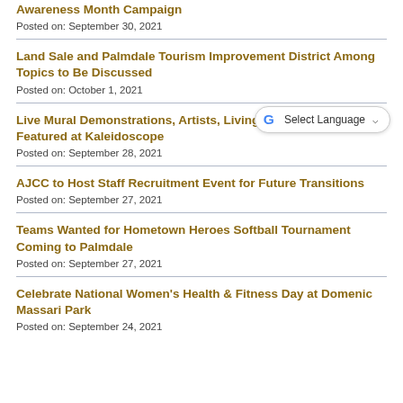Awareness Month Campaign
Posted on: September 30, 2021
Land Sale and Palmdale Tourism Improvement District Among Topics to Be Discussed
Posted on: October 1, 2021
Live Mural Demonstrations, Artists, Living Water Statues to be Featured at Kaleidoscope
Posted on: September 28, 2021
AJCC to Host Staff Recruitment Event for Future Transitions
Posted on: September 27, 2021
Teams Wanted for Hometown Heroes Softball Tournament Coming to Palmdale
Posted on: September 27, 2021
Celebrate National Women's Health & Fitness Day at Domenic Massari Park
Posted on: September 24, 2021